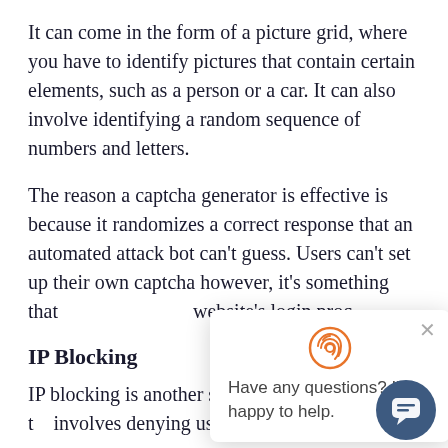It can come in the form of a picture grid, where you have to identify pictures that contain certain elements, such as a person or a car. It can also involve identifying a random sequence of numbers and letters.
The reason a captcha generator is effective is because it randomizes a correct response that an automated attack bot can't guess. Users can't set up their own captcha however, it's something that [overlapped by popup] website's login proc[overlapped by popup]
[Figure (other): Chat widget popup with orange fingerprint icon at top center, an X close button, and text 'Have any questions? I'm happy to help.' Also a dark blue circular chat bubble button in bottom right corner.]
IP Blocking
IP blocking is another security measure that involves denying users from connecting to a